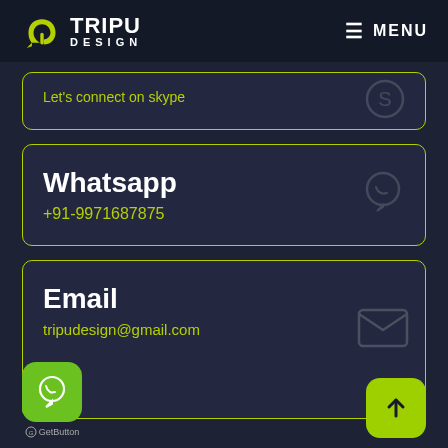TRIPU DESIGN — MENU
Let's connect on skype
Whatsapp
+91-9971687875
Email
tripudesign@gmail.com
[Figure (logo): Green WhatsApp floating action button]
[Figure (logo): Green scroll-to-top floating action button with upward arrow]
GetButton